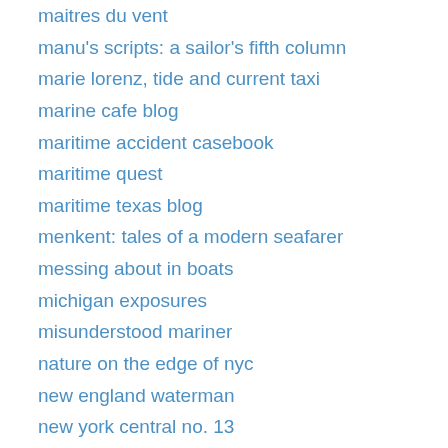maitres du vent
manu's scripts: a sailor's fifth column
marie lorenz, tide and current taxi
marine cafe blog
maritime accident casebook
maritime quest
maritime texas blog
menkent: tales of a modern seafarer
messing about in boats
michigan exposures
misunderstood mariner
nature on the edge of nyc
new england waterman
new york central no. 13
new york city oyster gardening program
new york media boat
noaa historical charts – goldmine!!!
noah devereaux photography blog
ny sloop
nyc dep harbor water information